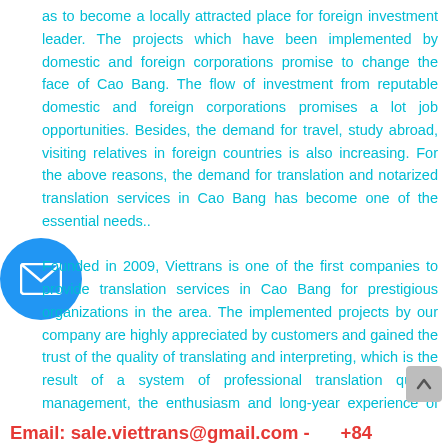as to become a locally attracted place for foreign investment leader. The projects which have been implemented by domestic and foreign corporations promise to change the face of Cao Bang. The flow of investment from reputable domestic and foreign corporations promises a lot job opportunities. Besides, the demand for travel, study abroad, visiting relatives in foreign countries is also increasing. For the above reasons, the demand for translation and notarized translation services in Cao Bang has become one of the essential needs.. Founded in 2009, Viettrans is one of the first companies to provide translation services in Cao Bang for prestigious organizations in the area. The implemented projects by our company are highly appreciated by customers and gained the trust of the quality of translating and interpreting, which is the result of a system of professional translation quality management, the enthusiasm and long-year experience of our translation staff
Email: sale.viettrans@gmail.com -      +84